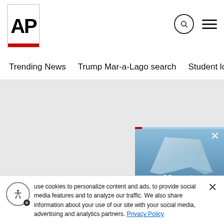[Figure (logo): AP (Associated Press) logo in black bold text with red bar at bottom]
Trending News   Trump Mar-a-Lago search   Student loans   U.S.
[Figure (photo): Gray content area placeholder, with a video player overlay showing an iceberg scene with pause and mute controls and a red progress bar]
It also was not exactly what he had
use cookies to personalize content and ads, to provide social media features and to analyze our traffic. We also share information about your use of our site with your social media, advertising and analytics partners. Privacy Policy